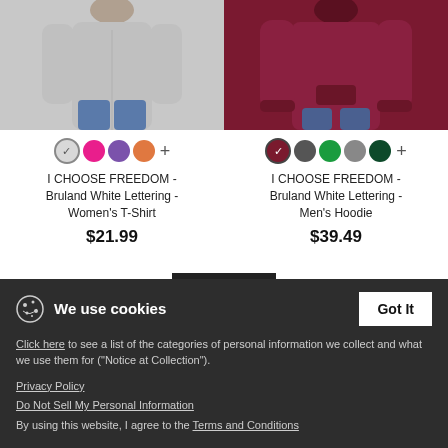[Figure (photo): Woman wearing a gray I Choose Freedom t-shirt, shown from shoulders down]
[Figure (photo): Man wearing a maroon/dark red I Choose Freedom hoodie, shown from shoulders down]
I CHOOSE FREEDOM - Bruland White Lettering - Women's T-Shirt
$21.99
I CHOOSE FREEDOM - Bruland White Lettering - Men's Hoodie
$39.49
New
We use cookies
Got It
Click here to see a list of the categories of personal information we collect and what we use them for ("Notice at Collection").
Privacy Policy
Do Not Sell My Personal Information
By using this website, I agree to the Terms and Conditions